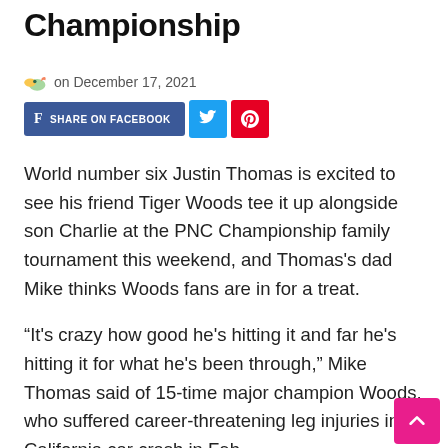Championship
on December 17, 2021
[Figure (other): Social share buttons: Share on Facebook, Twitter, Pinterest]
World number six Justin Thomas is excited to see his friend Tiger Woods tee it up alongside son Charlie at the PNC Championship family tournament this weekend, and Thomas's dad Mike thinks Woods fans are in for a treat.
“It's crazy how good he's hitting it and far he's hitting it for what he's been through,” Mike Thomas said of 15-time major champion Woods, who suffered career-threatening leg injuries in a California car crash in Feb…